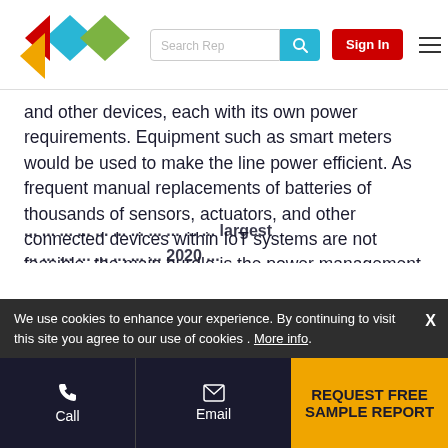[Figure (screenshot): Website header with colorful diamond logo, search bar with teal search button, red Sign In button, and hamburger menu icon]
and other devices, each with its own power requirements. Equipment such as smart meters would be used to make the line power efficient. As frequent manual replacements of batteries of thousands of sensors, actuators, and other connected devices within IoT systems are not feasible, the main hurdle is the power management of devices using wireless technologies such as Wi-Fi. Although semiconductor manufacturers are already working toward producing ultra-low-power chips and modules, there is still a challenge for innovation in battery technology and power management of portable and wearable electronics.
We use cookies to enhance your experience. By continuing to visit this site you agree to our use of cookies . More info.
REQUEST FREE SAMPLE REPORT